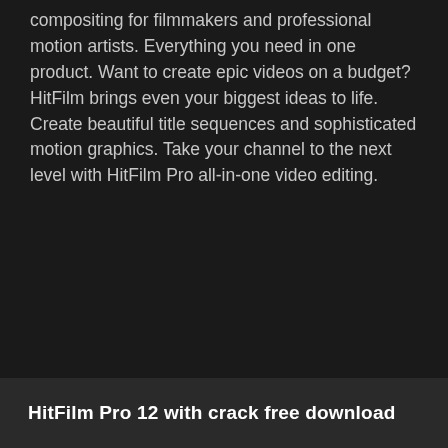compositing for filmmakers and professional motion artists. Everything you need in one product. Want to create epic videos on a budget? HitFilm brings even your biggest ideas to life. Create beautiful title sequences and sophisticated motion graphics. Take your channel to the next level with HitFilm Pro all-in-one video editing.
HitFilm Pro 12 with crack free download